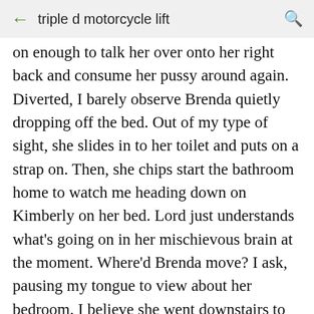triple d motorcycle lift
on enough to talk her over onto her right back and consume her pussy around again. Diverted, I barely observe Brenda quietly dropping off the bed. Out of my type of sight, she slides in to her toilet and puts on a strap on. Then, she chips start the bathroom home to watch me heading down on Kimberly on her bed. Lord just understands what's going on in her mischievous brain at the moment. Where'd Brenda move? I ask, pausing my tongue to view about her bedroom. I believe she went downstairs to confirm the party, Kimberly fibs, distracting me with her fingers operating through my hair. I believed Emerald